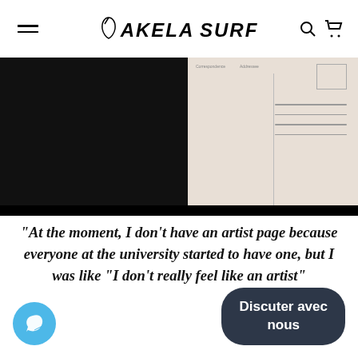AKELA SURF
[Figure (photo): Product photo showing back of a postcard with address lines and stamp box, against a dark/black background]
“At the moment, I don’t have an artist page because everyone at the university started to have one, but I was like “I don’t really feel like an artist”